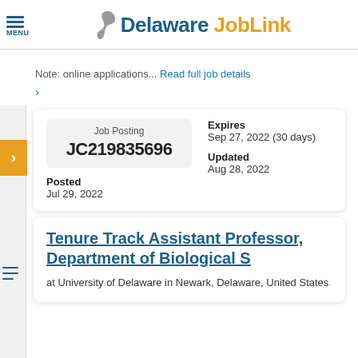MENU | Delaware JobLink
Note: online applications... Read full job details >
| Job Posting | Expires | Posted | Updated |
| --- | --- | --- | --- |
| JC219835696 | Sep 27, 2022 (30 days) | Jul 29, 2022 | Aug 28, 2022 |
Tenure Track Assistant Professor, Department of Biological S
at University of Delaware in Newark, Delaware, United States